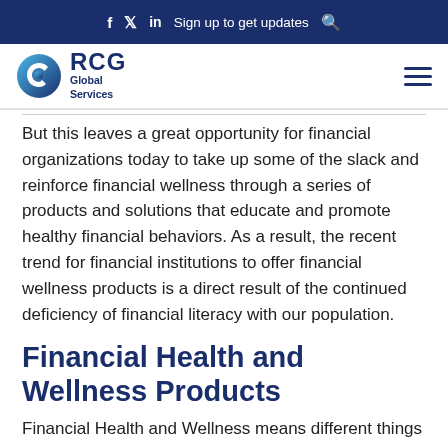f  ð  in  Sign up to get updates  🔍
[Figure (logo): RCG Global Services logo with blue circular icon and text]
But this leaves a great opportunity for financial organizations today to take up some of the slack and reinforce financial wellness through a series of products and solutions that educate and promote healthy financial behaviors. As a result, the recent trend for financial institutions to offer financial wellness products is a direct result of the continued deficiency of financial literacy with our population.
Financial Health and Wellness Products
Financial Health and Wellness means different things